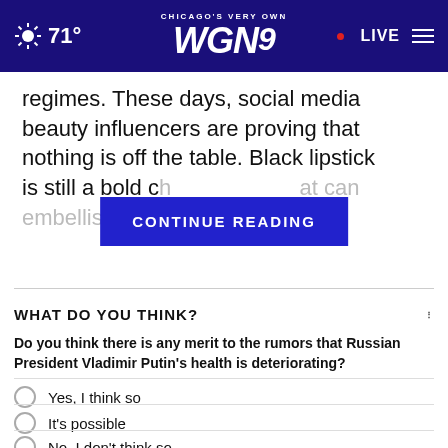Chicago's Very Own WGN9 · 71° · LIVE
regimes. These days, social media beauty influencers are proving that nothing is off the table. Black lipstick is still a bold ch[...] at can embellish mo[...]
CONTINUE READING
WHAT DO YOU THINK?
Do you think there is any merit to the rumors that Russian President Vladimir Putin's health is deteriorating?
Yes, I think so
It's possible
No, I don't think so
Other / No opinion